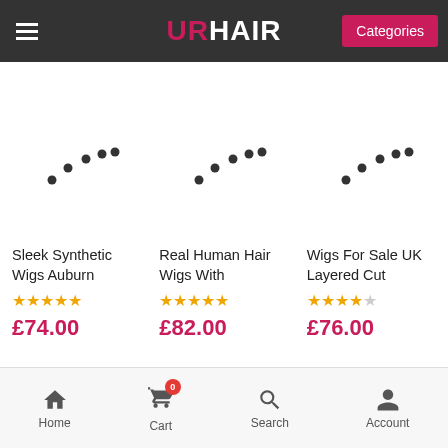URHAIR — Categories
[Figure (illustration): Product image placeholder for Sleek Synthetic Wigs Auburn (loading spinner dots)]
Sleek Synthetic Wigs Auburn
[Figure (illustration): 5 star rating — 5 full stars]
£74.00
[Figure (illustration): Product image placeholder for Real Human Hair Wigs With (loading spinner dots)]
Real Human Hair Wigs With
[Figure (illustration): 4.5 star rating — 4 full stars and 1 half star]
£82.00
[Figure (illustration): Product image placeholder for Wigs For Sale UK Layered Cut (loading spinner dots)]
Wigs For Sale UK Layered Cut
[Figure (illustration): 4 star rating — 4 full stars and 1 empty star]
£76.00
Home  Cart  Search  Account